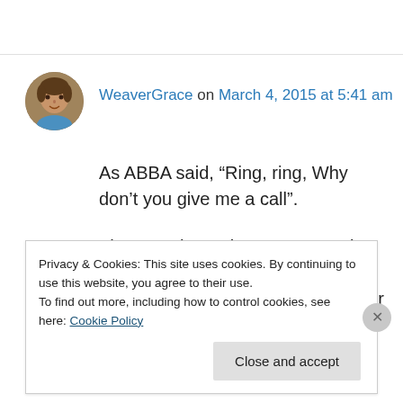[Figure (photo): Circular avatar photo of a person (WeaverGrace), showing a face with brown tones]
WeaverGrace on March 4, 2015 at 5:41 am
As ABBA said, “Ring, ring, Why don’t you give me a call”.
That top photo gives new meaning to “putting your ear to the ground”. Might as well put the ground to your ear, if you don't want to get dirty.
How convenient that phones are now hands-free
Privacy & Cookies: This site uses cookies. By continuing to use this website, you agree to their use.
To find out more, including how to control cookies, see here: Cookie Policy